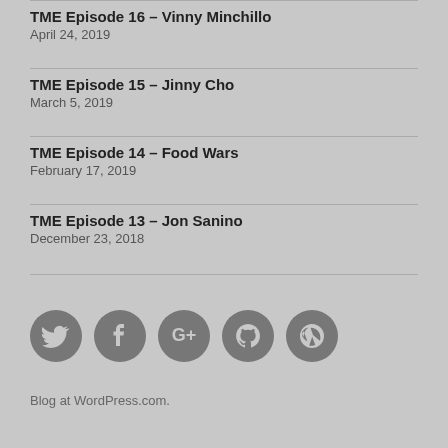TME Episode 16 – Vinny Minchillo
April 24, 2019
TME Episode 15 – Jinny Cho
March 5, 2019
TME Episode 14 – Food Wars
February 17, 2019
TME Episode 13 – Jon Sanino
December 23, 2018
[Figure (infographic): Row of 5 social media icon circles: Twitter, Facebook, Google+, GitHub, WordPress]
Blog at WordPress.com.